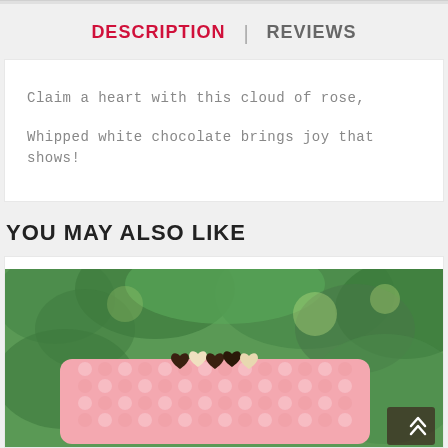DESCRIPTION | REVIEWS
Claim a heart with this cloud of rose,

Whipped white chocolate brings joy that shows!
YOU MAY ALSO LIKE
[Figure (photo): Pink cake decorated with chocolate hearts on top, photographed outdoors with green foliage in background]